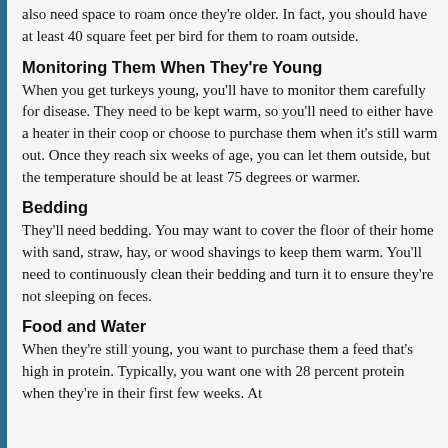also need space to roam once they're older. In fact, you should have at least 40 square feet per bird for them to roam outside.
Monitoring Them When They're Young
When you get turkeys young, you'll have to monitor them carefully for disease. They need to be kept warm, so you'll need to either have a heater in their coop or choose to purchase them when it's still warm out. Once they reach six weeks of age, you can let them outside, but the temperature should be at least 75 degrees or warmer.
Bedding
They'll need bedding. You may want to cover the floor of their home with sand, straw, hay, or wood shavings to keep them warm. You'll need to continuously clean their bedding and turn it to ensure they're not sleeping on feces.
Food and Water
When they're still young, you want to purchase them a feed that's high in protein. Typically, you want one with 28 percent protein when they're in their first few weeks. At